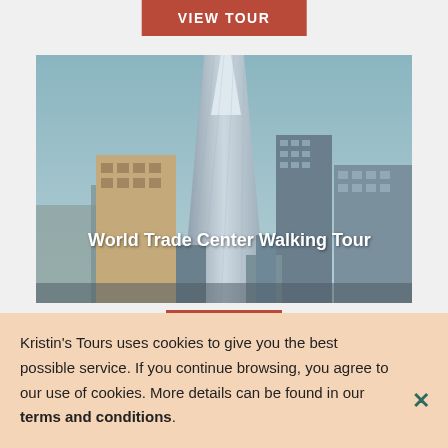VIEW TOUR
[Figure (photo): Upward-angle photograph of the One World Trade Center skyscraper and surrounding buildings in lower Manhattan against a pale blue sky, with the text 'World Trade Center Walking Tour' overlaid in white.]
World Trade Center Walking Tour
Kristin's Tours uses cookies to give you the best possible service. If you continue browsing, you agree to our use of cookies. More details can be found in our terms and conditions.